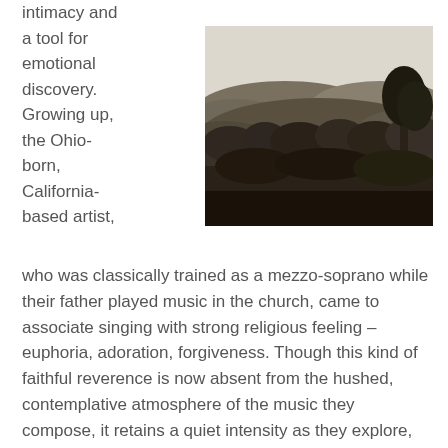intimacy and a tool for emotional discovery. Growing up, the Ohio-born, California-based artist,
[Figure (photo): Black and white landscape photograph showing rolling hills with dense vegetation and trees in the foreground, pale sky in the background.]
who was classically trained as a mezzo-soprano while their father played music in the church, came to associate singing with strong religious feeling – euphoria, adoration, forgiveness. Though this kind of faithful reverence is now absent from the hushed, contemplative atmosphere of the music they compose, it retains a quiet intensity as they explore, conjure, and transmute emotions and memories that are deeply rooted in the self and its interaction with the environment. The follow-up to last year's Devil's Rain EP presents these interconnected snapshots through sparse, mesmerizing arrangements and